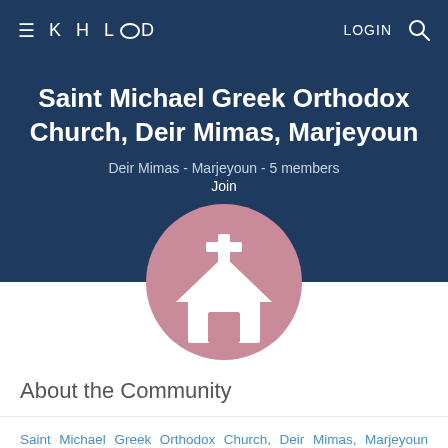KHLOOD — LOGIN
Saint Michael Greek Orthodox Church, Deir Mimas, Marjeyoun
Deir Mimas - Marjeyoun - 5 members
Join
[Figure (illustration): Pink circle with a white church icon (building with a cross on top)]
About the Community
Saint Michael Greek Orthodox Church, Deir Mimas, Marjeyoun community doesn't have a community leader for now. If you are interested in contributing to the profile of this community, please email us on communities@khoolood.com and we will get in touch